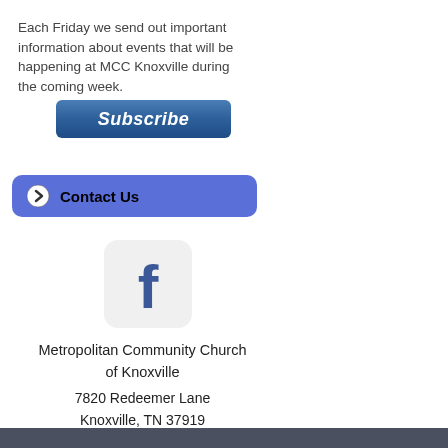Each Friday we send out important information about events that will be happening at MCC Knoxville during the coming week.
[Figure (other): Subscribe button - teal/blue gradient rounded rectangle with italic bold white text 'Subscribe']
[Figure (other): Contact Us button - blue/purple rounded rectangle with arrow icon and bold text 'Contact Us']
[Figure (logo): Facebook logo icon - rounded square with white background and blue Facebook 'f' logo]
Metropolitan Community Church of Knoxville
7820 Redeemer Lane
Knoxville, TN 37919
office@mccknoxville.org
Phone (865) 531-2539